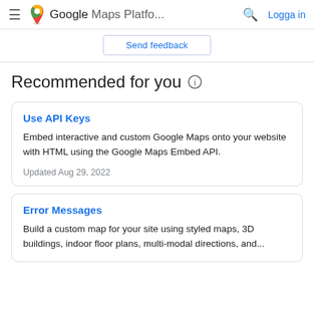Google Maps Platfo...  Logga in
Send feedback
Recommended for you
Use API Keys
Embed interactive and custom Google Maps onto your website with HTML using the Google Maps Embed API.
Updated Aug 29, 2022
Error Messages
Build a custom map for your site using styled maps, 3D buildings, indoor floor plans, multi-modal directions, and...